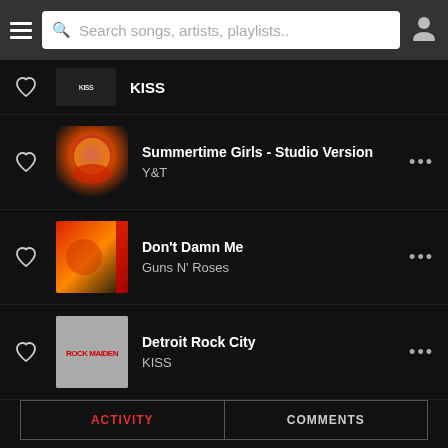[Figure (screenshot): Navigation bar with hamburger menu, search box placeholder 'Search songs, artists, playlists..', and user profile icon]
KISS (partial album art visible, heart icon)
Summertime Girls - Studio Version / Y&T
Don't Damn Me / Guns N' Roses
Detroit Rock City / KISS
| ACTIVITY | COMMENTS |
| --- | --- |